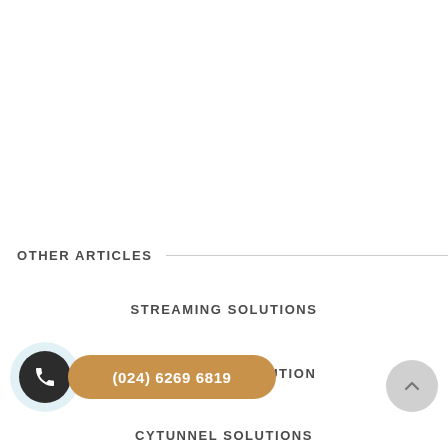OTHER ARTICLES
STREAMING SOLUTIONS
MULTI-POINT SOLUTION
CYTUNNEL SOLUTIONS
(024) 6269 6819